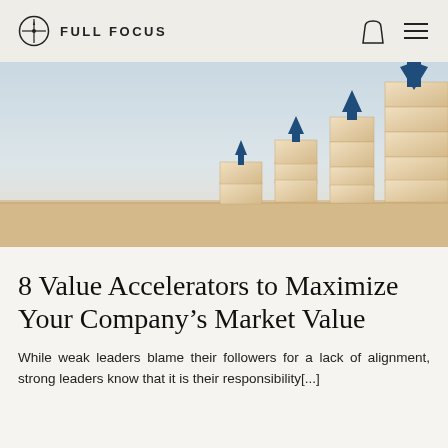FULL FOCUS
[Figure (photo): Wooden blocks stacked in ascending stair-step formation with dark blue upward arrows painted on them, against a light background, representing growth and increasing market value.]
8 Value Accelerators to Maximize Your Company's Market Value
While weak leaders blame their followers for a lack of alignment, strong leaders know that it is their responsibility[...]